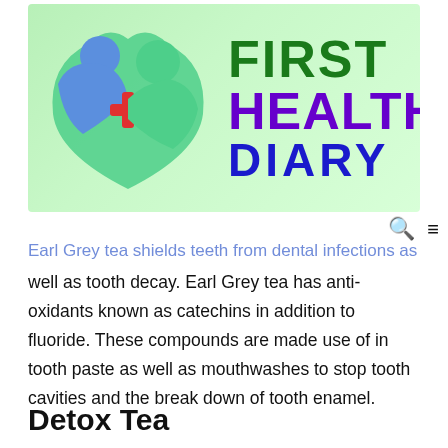[Figure (logo): First Health Diary logo with green background, two human figures in blue and green forming a heart/shield shape with a red cross in the center, and text reading FIRST HEALTH DIARY]
Earl Grey tea shields teeth from dental infections as well as tooth decay. Earl Grey tea has anti-oxidants known as catechins in addition to fluoride. These compounds are made use of in tooth paste as well as mouthwashes to stop tooth cavities and the break down of tooth enamel.
Detox Tea